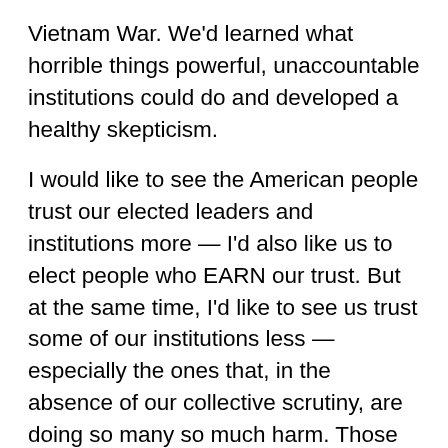Vietnam War. We'd learned what horrible things powerful, unaccountable institutions could do and developed a healthy skepticism.

I would like to see the American people trust our elected leaders and institutions more — I'd also like us to elect people who EARN our trust. But at the same time, I'd like to see us trust some of our institutions less — especially the ones that, in the absence of our collective scrutiny, are doing so many so much harm. Those institutions aren't just abusing their power — they're abusing OUR TRUST. The response — the response of all of us — should be to trust them less and scrutinize them more.